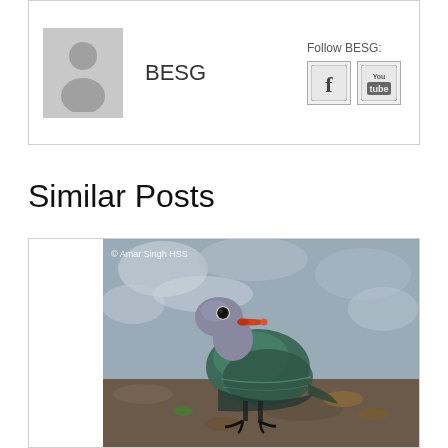[Figure (illustration): Author avatar placeholder icon — silhouette of a person on gray background]
BESG
Follow BESG:
[Figure (illustration): Facebook and YouTube social media icon buttons]
Similar Posts
[Figure (photo): Photograph of a green pigeon (Chalcophaps species) walking on the ground among leaves and pebbles. Watermark reads: © Amar Singh HSS]